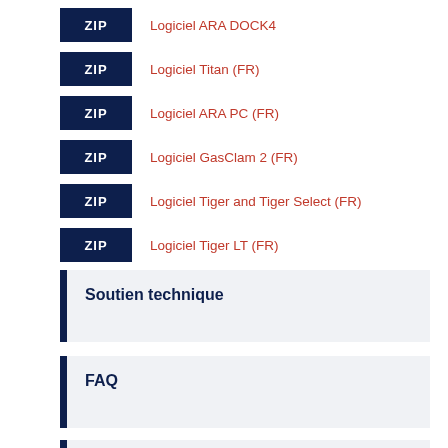ZIP Logiciel ARA DOCK4
ZIP Logiciel Titan (FR)
ZIP Logiciel ARA PC (FR)
ZIP Logiciel GasClam 2 (FR)
ZIP Logiciel Tiger and Tiger Select (FR)
ZIP Logiciel Tiger LT (FR)
ZIP Logiciel Cub (FR)
Soutien technique
FAQ